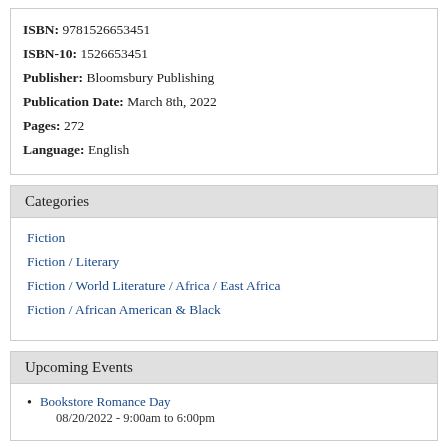ISBN: 9781526653451
ISBN-10: 1526653451
Publisher: Bloomsbury Publishing
Publication Date: March 8th, 2022
Pages: 272
Language: English
Categories
Fiction
Fiction / Literary
Fiction / World Literature / Africa / East Africa
Fiction / African American & Black
Upcoming Events
Bookstore Romance Day
08/20/2022 - 9:00am to 6:00pm